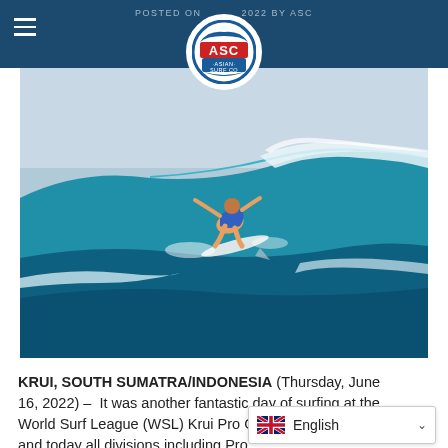POSTED ON [date] 2022 BY ASC
[Figure (photo): ASC Asian Surf Co circular logo with red, white, and blue coloring, centered in the dark blue navigation header bar]
[Figure (photo): Action surfing photo showing a surfer riding a large turquoise wave at Krui, South Sumatra, Indonesia. The surfer is wearing a blue top and performing a maneuver on the face of a big wave with white water spray.]
KRUI, SOUTH SUMATRA/INDONESIA (Thursday, June 16, 2022) –  It was another fantastic day of surfing at the World Surf League (WSL) Krui Pro GSF 000 in Indonesia and today all divisions including Pro... [et